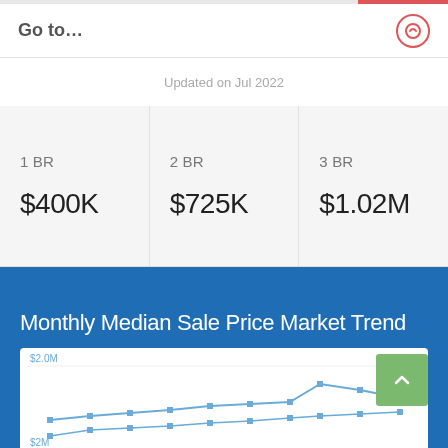Go to…
Updated on Jul 2022
| 1 BR | 2 BR | 3 BR |
| --- | --- | --- |
| $400K | $725K | $1.02M |
Monthly Median Sale Price Market Trend
[Figure (line-chart): Monthly Median Sale Price Market Trend line chart, partially visible. Y-axis shows $2.0M at top and $2M at bottom visible, two lines trending upward with square markers, one line rising steeply to a peak then dipping, another line lower.]